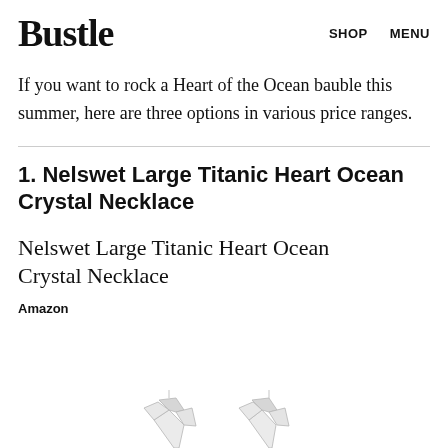Bustle   SHOP   MENU
If you want to rock a Heart of the Ocean bauble this summer, here are three options in various price ranges.
1. Nelswet Large Titanic Heart Ocean Crystal Necklace
Nelswet Large Titanic Heart Ocean Crystal Necklace
Amazon
[Figure (photo): Partial product photo of the Nelswet Large Titanic Heart Ocean Crystal Necklace, showing the bottom portion of the image]